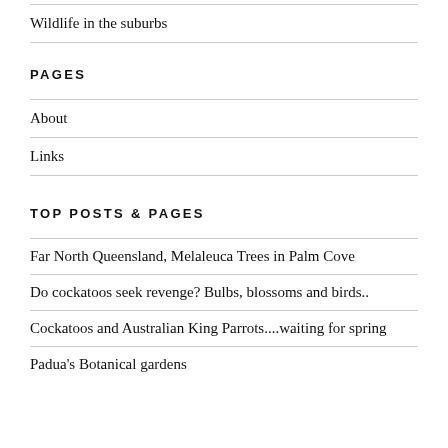Wildlife in the suburbs
PAGES
About
Links
TOP POSTS & PAGES
Far North Queensland, Melaleuca Trees in Palm Cove
Do cockatoos seek revenge? Bulbs, blossoms and birds..
Cockatoos and Australian King Parrots....waiting for spring
Padua's Botanical gardens